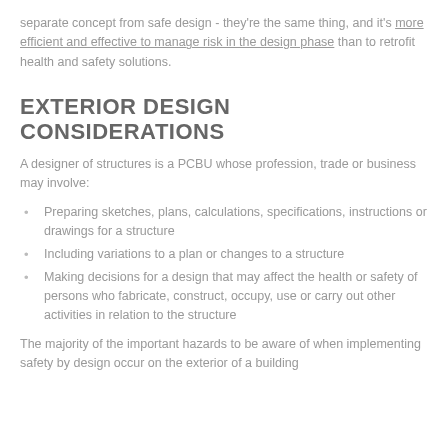separate concept from safe design - they're the same thing, and it's more efficient and effective to manage risk in the design phase than to retrofit health and safety solutions.
EXTERIOR DESIGN CONSIDERATIONS
A designer of structures is a PCBU whose profession, trade or business may involve:
Preparing sketches, plans, calculations, specifications, instructions or drawings for a structure
Including variations to a plan or changes to a structure
Making decisions for a design that may affect the health or safety of persons who fabricate, construct, occupy, use or carry out other activities in relation to the structure
The majority of the important hazards to be aware of when implementing safety by design occur on the exterior of a building